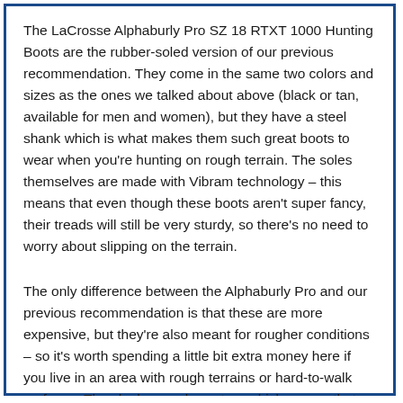The LaCrosse Alphaburly Pro SZ 18 RTXT 1000 Hunting Boots are the rubber-soled version of our previous recommendation. They come in the same two colors and sizes as the ones we talked about above (black or tan, available for men and women), but they have a steel shank which is what makes them such great boots to wear when you're hunting on rough terrain. The soles themselves are made with Vibram technology – this means that even though these boots aren't super fancy, their treads will still be very sturdy, so there's no need to worry about slipping on the terrain.
The only difference between the Alphaburly Pro and our previous recommendation is that these are more expensive, but they're also meant for rougher conditions – so it's worth spending a little bit extra money here if you live in an area with rough terrains or hard-to-walk surfaces. They look very classy too, which means that no